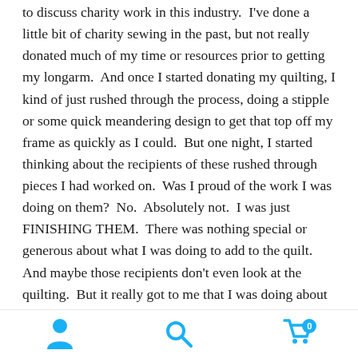to discuss charity work in this industry.  I've done a little bit of charity sewing in the past, but not really donated much of my time or resources prior to getting my longarm.  And once I started donating my quilting, I kind of just rushed through the process, doing a stipple or some quick meandering design to get that top off my frame as quickly as I could.  But one night, I started thinking about the recipients of these rushed through pieces I had worked on.  Was I proud of the work I was doing on them?  No.  Absolutely not.  I was just FINISHING THEM.  There was nothing special or generous about what I was doing to add to the quilt.  And maybe those recipients don't even look at the quilting.  But it really got to me that I was doing about 2% of my best work on something that was supposed to be making someone happier.  I decided to start doing my best work on every quilt top.  Whether it was a